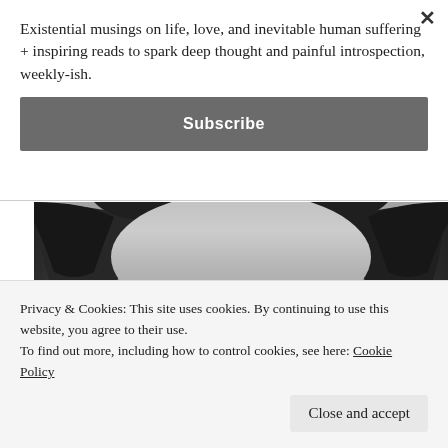Existential musings on life, love, and inevitable human suffering + inspiring reads to spark deep thought and painful introspection, weekly-ish.
Subscribe
[Figure (photo): Black and white close-up photo of a person's eyes and forehead wearing round wire-rimmed glasses, with dark wavy hair]
Privacy & Cookies: This site uses cookies. By continuing to use this website, you agree to their use.
To find out more, including how to control cookies, see here: Cookie Policy
Close and accept